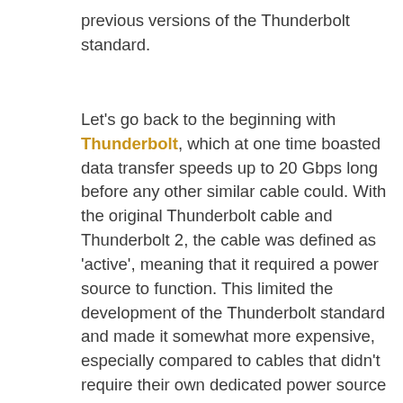previous versions of the Thunderbolt standard.
Let's go back to the beginning with Thunderbolt, which at one time boasted data transfer speeds up to 20 Gbps long before any other similar cable could. With the original Thunderbolt cable and Thunderbolt 2, the cable was defined as 'active', meaning that it required a power source to function. This limited the development of the Thunderbolt standard and made it somewhat more expensive, especially compared to cables that didn't require their own dedicated power source to operate. These limitations are what allowed Universal Serial Bus to advance to the point where they completely supplanted the Thunderbolt standard.